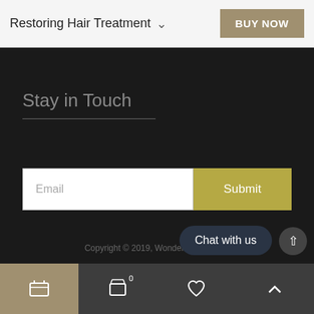Restoring Hair Treatment
Stay in Touch
Email
Submit
Copyright © 2019, Wonder Curl LLC. A
Chat with us